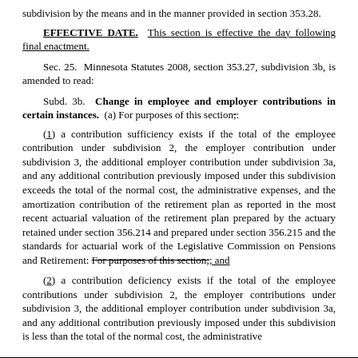subdivision by the means and in the manner provided in section 353.28.
EFFECTIVE DATE. This section is effective the day following final enactment.
Sec. 25. Minnesota Statutes 2008, section 353.27, subdivision 3b, is amended to read:
Subd. 3b. Change in employee and employer contributions in certain instances. (a) For purposes of this section;:
(1) a contribution sufficiency exists if the total of the employee contribution under subdivision 2, the employer contribution under subdivision 3, the additional employer contribution under subdivision 3a, and any additional contribution previously imposed under this subdivision exceeds the total of the normal cost, the administrative expenses, and the amortization contribution of the retirement plan as reported in the most recent actuarial valuation of the retirement plan prepared by the actuary retained under section 356.214 and prepared under section 356.215 and the standards for actuarial work of the Legislative Commission on Pensions and Retirement: For purposes of this section;: and
(2) a contribution deficiency exists if the total of the employee contributions under subdivision 2, the employer contributions under subdivision 3, the additional employer contribution under subdivision 3a, and any additional contribution previously imposed under this subdivision is less than the total of the normal cost, the administrative